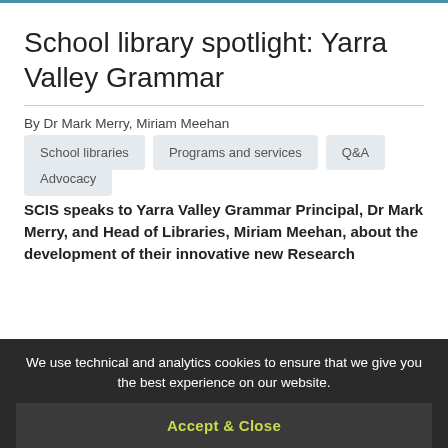School library spotlight: Yarra Valley Grammar
By Dr Mark Merry, Miriam Meehan
School libraries
Programs and services
Q&A
Advocacy
SCIS speaks to Yarra Valley Grammar Principal, Dr Mark Merry, and Head of Libraries, Miriam Meehan, about the development of their innovative new Research…
We use technical and analytics cookies to ensure that we give you the best experience on our website.
Accept & Close